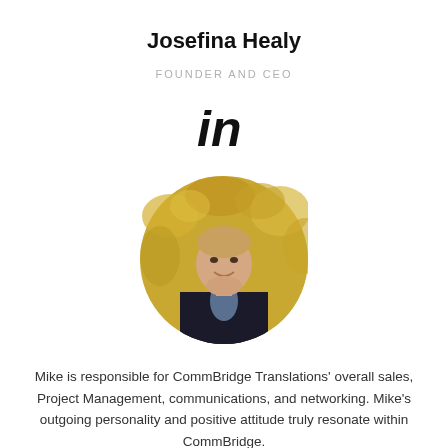Josefina Healy
FOUNDER AND CEO
[Figure (logo): LinkedIn 'in' logo mark in black bold italic text]
[Figure (photo): Circular portrait photo of a young man smiling, wearing a dark hoodie over a grey shirt, with yellow autumn foliage in the background]
Mike is responsible for CommBridge Translations' overall sales, Project Management, communications, and networking. Mike's outgoing personality and positive attitude truly resonate within CommBridge.